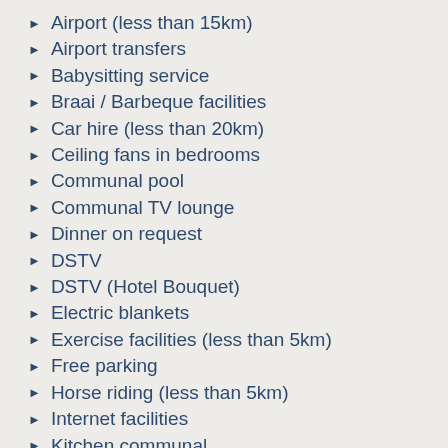Airport (less than 15km)
Airport transfers
Babysitting service
Braai / Barbeque facilities
Car hire (less than 20km)
Ceiling fans in bedrooms
Communal pool
Communal TV lounge
Dinner on request
DSTV
DSTV (Hotel Bouquet)
Electric blankets
Exercise facilities (less than 5km)
Free parking
Horse riding (less than 5km)
Internet facilities
Kitchen communal
Kitchenette only
Laundry facilities (less than 2km)
Laundry facilities onsite